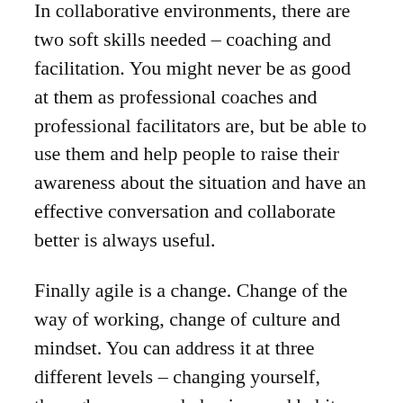In collaborative environments, there are two soft skills needed – coaching and facilitation. You might never be as good at them as professional coaches and professional facilitators are, but be able to use them and help people to raise their awareness about the situation and have an effective conversation and collaborate better is always useful.
Finally agile is a change. Change of the way of working, change of culture and mindset. You can address it at three different levels – changing yourself, through your own behaviors and habits. Becoming a role model. In my mind, this is the most powerful change. Leaders need to change first, the organization will follow. Secondly, you can change the way we work by